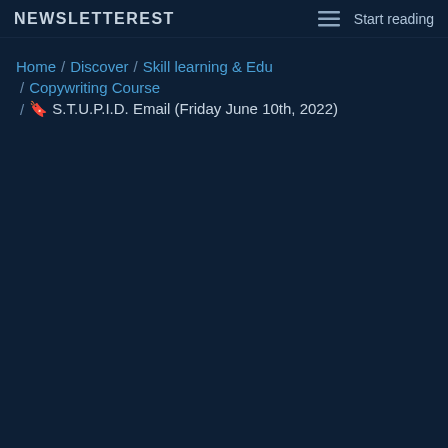NEWSLETTEREST  Start reading
Home / Discover / Skill learning & Edu / Copywriting Course / 🔖 S.T.U.P.I.D. Email (Friday June 10th, 2022)